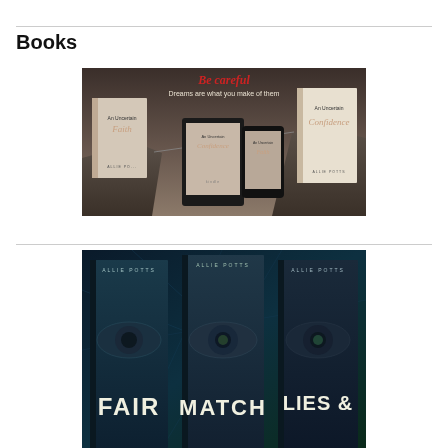Books
[Figure (photo): Promotional image for 'An Uncertain Faith' and 'An Uncertain Confidence' by Allie Potts, showing book covers on Kindle tablet and phone with text: 'Be careful Dreams are what you make of them']
[Figure (photo): Promotional image showing three books by Allie Potts: 'Fair', 'Match', and 'Lies &' with close-up eye imagery on a teal/blue background]